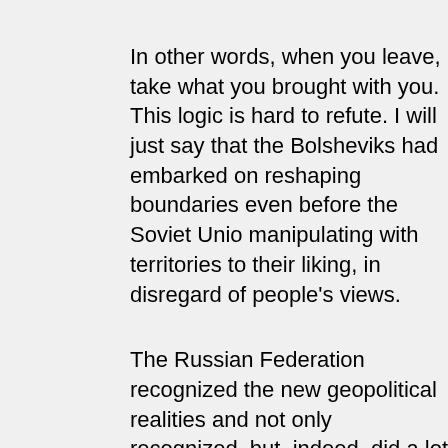In other words, when you leave, take what you brought with you. This logic is hard to refute. I will just say that the Bolsheviks had embarked on reshaping boundaries even before the Soviet Union manipulating with territories to their liking, in disregard of people's views.
The Russian Federation recognized the new geopolitical realities and not only recognized, but, indeed, did a lot for Ukraine to establish itself as an independent country. Throughout the difficult 1990's and in the new millennium, we have provided considerable support to Ukraine. Whatever "political arithmetic" of its own Kiev may wish to apply, in 1991–2013, Ukraine's budget savings amounted to more than USD 82 billion, while today, it holds on to the mere USD 1.5 billion of Russian payments for gas transit to Europe. If economic ties between our countries had been retained, Ukraine would enjoy the benefit of tens of billions of dollars.
Ukraine and Russia have developed as a single economic system...